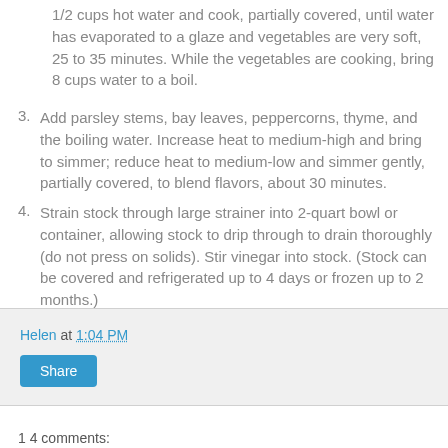1/2 cups hot water and cook, partially covered, until water has evaporated to a glaze and vegetables are very soft, 25 to 35 minutes. While the vegetables are cooking, bring 8 cups water to a boil.
3. Add parsley stems, bay leaves, peppercorns, thyme, and the boiling water. Increase heat to medium-high and bring to simmer; reduce heat to medium-low and simmer gently, partially covered, to blend flavors, about 30 minutes.
4. Strain stock through large strainer into 2-quart bowl or container, allowing stock to drip through to drain thoroughly (do not press on solids). Stir vinegar into stock. (Stock can be covered and refrigerated up to 4 days or frozen up to 2 months.)
Helen at 1:04 PM
Share
1 4 comments: